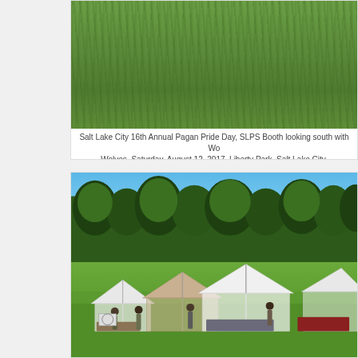[Figure (photo): Close-up aerial view of a lush green grass lawn, photographed from above showing dense green turf]
Salt Lake City 16th Annual Pagan Pride Day, SLPS Booth looking south with Wo Wolves, Saturday, August 12, 2017, Liberty Park, Salt Lake City,
[Figure (photo): Outdoor festival scene at Liberty Park showing multiple vendor tents (white, tan/beige) set up on a green lawn with trees in the background and blue sky. People are visible milling around the booths.]